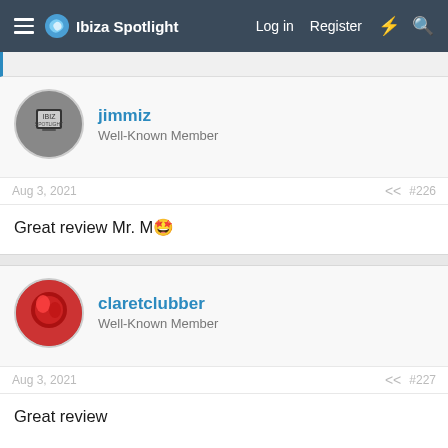Ibiza Spotlight — Log in  Register
jimmiz
Well-Known Member
Aug 3, 2021  #226
Great review Mr. M 😍
claretclubber
Well-Known Member
Aug 3, 2021  #227
Great review

Is this the terrace above the 'indoor club' bit? I've been up there a few times chilling with friends involved in nights